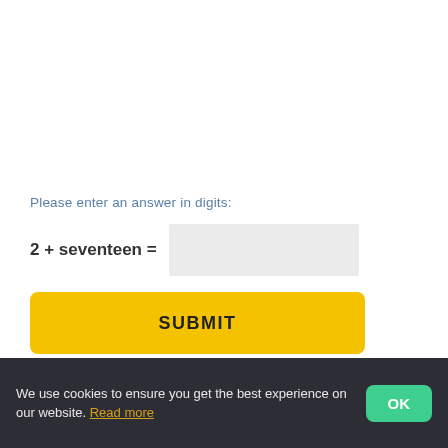Your Comment
Please enter an answer in digits:
SUBMIT
We use cookies to ensure you get the best experience on our website. Read more